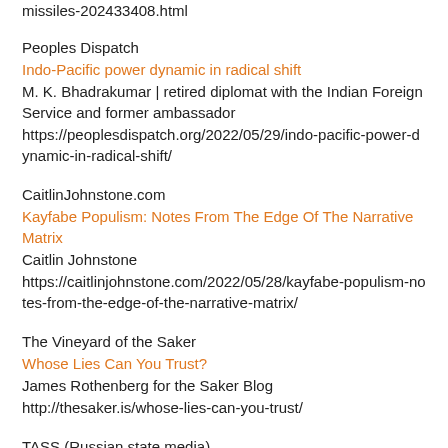missiles-202433408.html
Peoples Dispatch
Indo-Pacific power dynamic in radical shift
M. K. Bhadrakumar | retired diplomat with the Indian Foreign Service and former ambassador
https://peoplesdispatch.org/2022/05/29/indo-pacific-power-dynamic-in-radical-shift/
CaitlinJohnstone.com
Kayfabe Populism: Notes From The Edge Of The Narrative Matrix
Caitlin Johnstone
https://caitlinjohnstone.com/2022/05/28/kayfabe-populism-notes-from-the-edge-of-the-narrative-matrix/
The Vineyard of the Saker
Whose Lies Can You Trust?
James Rothenberg for the Saker Blog
http://thesaker.is/whose-lies-can-you-trust/
TASS (Russian state media)